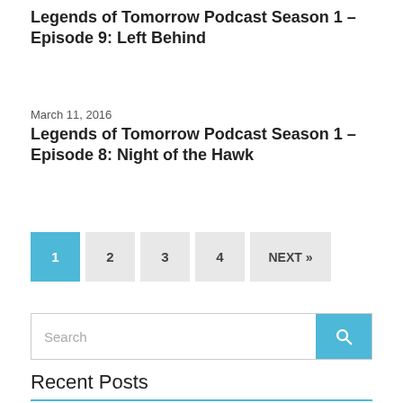Legends of Tomorrow Podcast Season 1 – Episode 9: Left Behind
March 11, 2016
Legends of Tomorrow Podcast Season 1 – Episode 8: Night of the Hawk
Pagination: 1 (current), 2, 3, 4, NEXT »
Search
Recent Posts